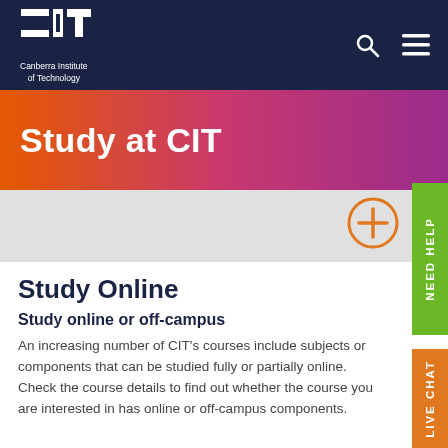[Figure (logo): CIT logo - Canberra Institute of Technology white logo on dark navy background]
Study at CIT
Study Online
Study online or off-campus
An increasing number of CIT's courses include subjects or components that can be studied fully or partially online. Check the course details to find out whether the course you are interested in has online or off-campus components.